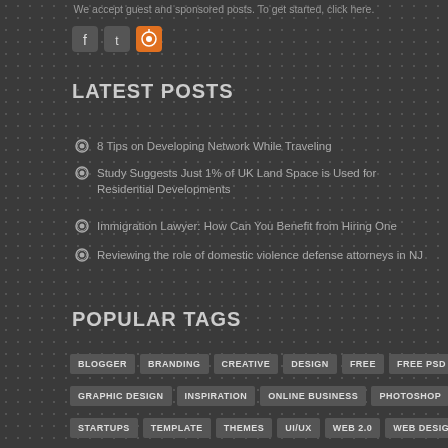We accept guest and sponsored posts. To get started, click here.
[Figure (other): Social media icons: Facebook, Twitter, RSS feed]
LATEST POSTS
8 Tips on Developing Network While Traveling
Study Suggests Just 1% of UK Land Space is Used for Residential Developments
Immigration Lawyer: How Can You Benefit from Hiring One
Reviewing the role of domestic violence defense attorneys in NJ
POPULAR TAGS
BLOGGER
BRANDING
CREATIVE
DESIGN
FREE
FREE PSD
GRAPHIC DESIGN
INSPIRATION
ONLINE BUSINESS
PHOTOSHOP
PSD
STARTUPS
TEMPLATE
THEMES
UI/UX
WEB 2.0
WEB DESIGN